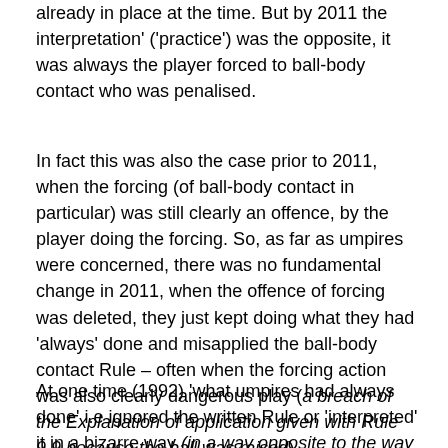already in place at the time. But by 2011 the interpretation' ('practice') was the opposite, it was always the player forced to ball-body contact who was penalised.
In fact this was also the case prior to 2011, when the forcing (of ball-body contact in particular) was still clearly an offence, by the player doing the forcing. So, as far as umpires were concerned, there was no fundamental change in 2011, when the offence of forcing was deleted, they just kept doing what they had 'always' done and misapplied the ball-body contact Rule – often when the forcing action was also clearly dangerous play (a breach of the Explanation of application given with Rule 9.9 because the ball was raised).
At one time (1992) 'what umpires had always done' i.e ignored the written Rule or 'interpreted' it in a bizarre way (in a way opposite to the way it was intended to be